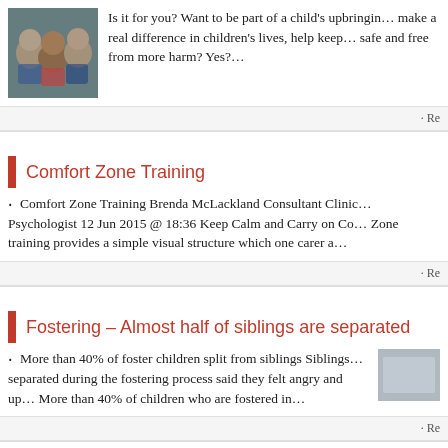[Figure (photo): Photo of three children smiling, looking up at camera from above]
Is it for you? Want to be part of a child's upbringing, make a real difference in children's lives, help keep them safe and free from more harm? Yes?…
· Re
Comfort Zone Training
Comfort Zone Training Brenda McLackland Consultant Clinical Psychologist 12 Jun 2015 @ 18:36 Keep Calm and Carry on Comfort Zone training provides a simple visual structure which one carer a…
· Re
Fostering – Almost half of siblings are separated
More than 40% of foster children split from siblings Siblings separated during the fostering process said they felt angry and up. More than 40% of children who are fostered in…
· Re